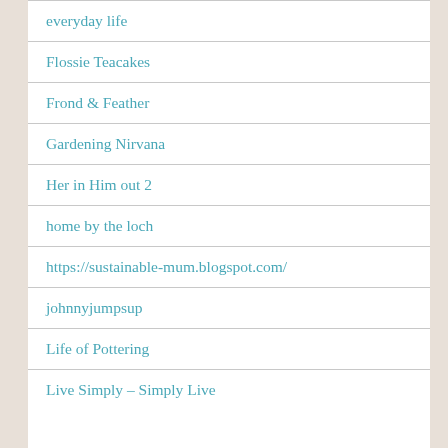everyday life
Flossie Teacakes
Frond & Feather
Gardening Nirvana
Her in Him out 2
home by the loch
https://sustainable-mum.blogspot.com/
johnnyjumpsup
Life of Pottering
Live Simply – Simply Live